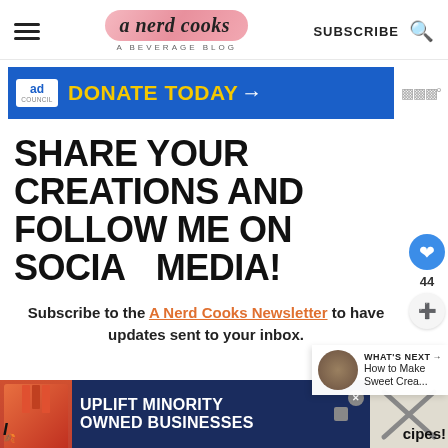a nerd cooks — A BEVERAGE BLOG | SUBSCRIBE
[Figure (screenshot): Advertisement banner: Ad Council blue background with yellow text 'DONATE TODAY →']
SHARE YOUR CREATIONS AND FOLLOW ME ON SOCIAL MEDIA!
Subscribe to the A Nerd Cooks Newsletter to have updates sent to your inbox.
[Figure (screenshot): WHAT'S NEXT → How to Make Sweet Crea... panel with food photo]
[Figure (screenshot): Bottom advertisement: UPLIFT MINORITY OWNED BUSINESSES banner with colorful storefronts on dark background]